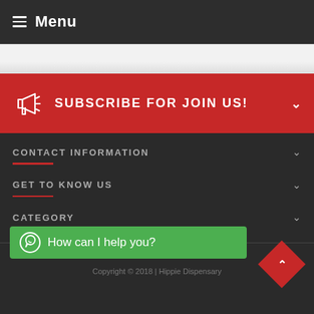Menu
SUBSCRIBE FOR JOIN US!
CONTACT INFORMATION
GET TO KNOW US
CATEGORY
How can I help you?
Copyright © 2018 | Hippie Dispensary